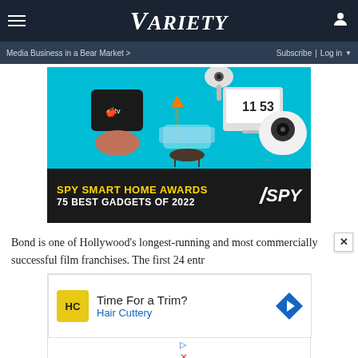Variety — Media Business in a Bear Market > | Subscribe | Log in
[Figure (photo): SPY Smart Home Awards advertisement image showing smart home gadgets (Apple TV, Google Home, security cameras, smart display showing 11:53) on a teal background with text 'SPY SMART HOME AWARDS 75 BEST GADGETS OF 2022' and SPY logo]
Bond is one of Hollywood’s longest-running and most commercially successful film franchises. The first 24 entr
[Figure (infographic): Hair Cuttery advertisement: yellow HC logo, 'Time For a Trim? Hair Cuttery' text with navigation arrow icon]